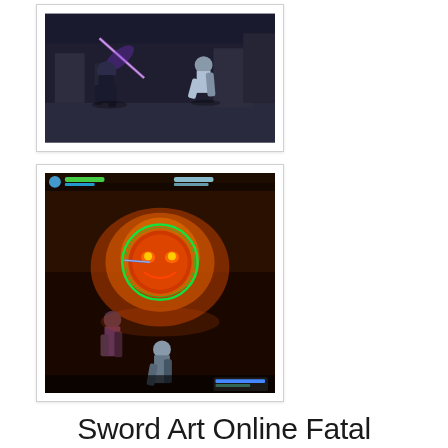[Figure (screenshot): Anime-style video game screenshot showing two characters in combat with purple light sword effect in an industrial setting]
[Figure (screenshot): Video game screenshot showing characters fighting a large fiery monster/boss with a green targeting circle, in a dark industrial environment with fire effects]
Sword Art Online Fatal